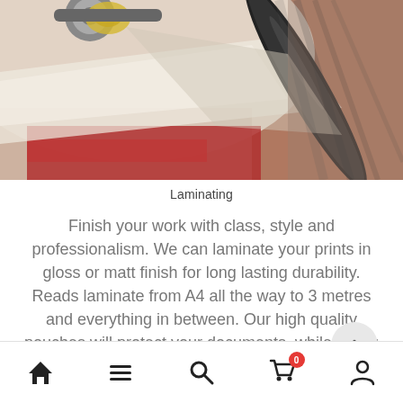[Figure (photo): Close-up photograph of a laminating machine with rollers processing paper sheets, showing a black roller and laminate film with red and white printed materials being fed through]
Laminating
Finish your work with class, style and professionalism. We can laminate your prints in gloss or matt finish for long lasting durability. Reads laminate from A4 all the way to 3 metres and everything in between. Our high quality pouches will protect your documents, while giving them a
[Figure (other): Bottom navigation bar with icons: home, hamburger menu, search, shopping cart with badge showing 0, and user/person icon]